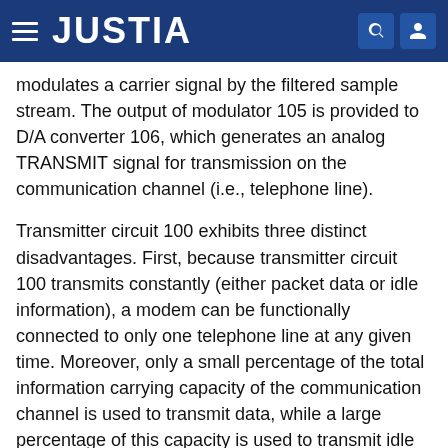JUSTIA
modulates a carrier signal by the filtered sample stream. The output of modulator 105 is provided to D/A converter 106, which generates an analog TRANSMIT signal for transmission on the communication channel (i.e., telephone line).
Transmitter circuit 100 exhibits three distinct disadvantages. First, because transmitter circuit 100 transmits constantly (either packet data or idle information), a modem can be functionally connected to only one telephone line at any given time. Moreover, only a small percentage of the total information carrying capacity of the communication channel is used to transmit data, while a large percentage of this capacity is used to transmit idle information. Additionally, transmitter circuit 100 is unsuited to multi-drop operation on a single communication channel. The first